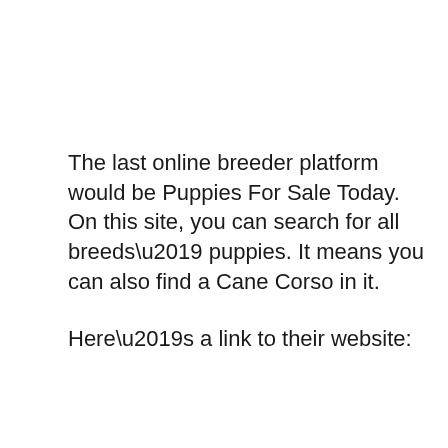The last online breeder platform would be Puppies For Sale Today. On this site, you can search for all breeds’ puppies. It means you can also find a Cane Corso in it.
Here’s a link to their website: